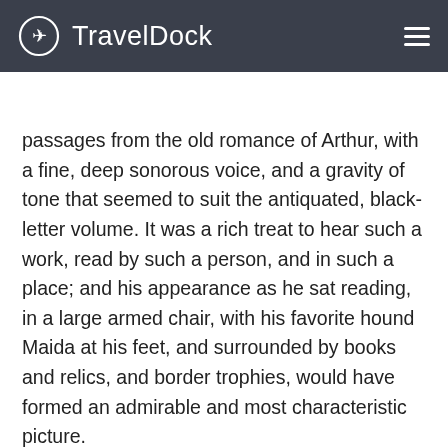TravelDock
Scotland
passages from the old romance of Arthur, with a fine, deep sonorous voice, and a gravity of tone that seemed to suit the antiquated, black-letter volume. It was a rich treat to hear such a work, read by such a person, and in such a place; and his appearance as he sat reading, in a large armed chair, with his favorite hound Maida at his feet, and surrounded by books and relics, and border trophies, would have formed an admirable and most characteristic picture.
While Scott was reading, the sage grimalkin, already mentioned, had taken his seat in a chair beside the fire, and remained with fixed eye and grave demeanor, as if listening to the reader. I observed to Scott that his cat seemed to